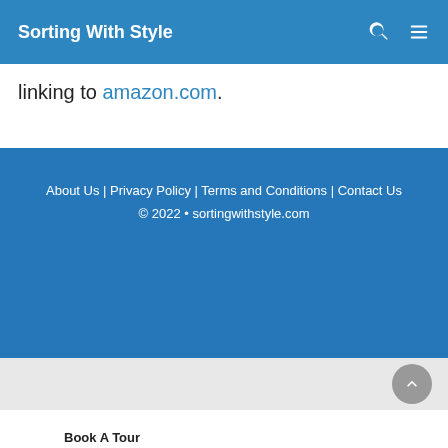Sorting With Style
linking to amazon.com.
About Us | Privacy Policy | Terms and Conditions | Contact Us
© 2022 • sortingwithstyle.com
[Figure (other): Scroll to top button (circular gray button with upward chevron)]
[Figure (other): Advertisement banner with green OPEN button and ad indicator icons]
Book A Tour